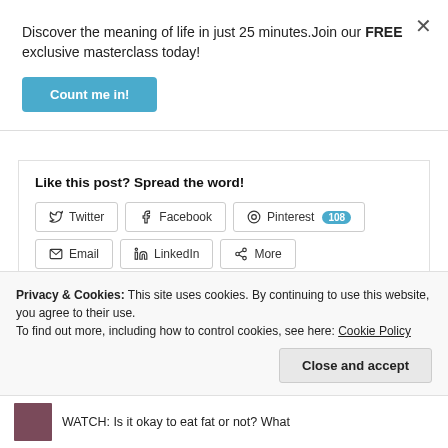Discover the meaning of life in just 25 minutes.Join our FREE exclusive masterclass today!
Count me in!
Like this post? Spread the word!
Twitter
Facebook
Pinterest 108
Email
LinkedIn
More
Loading...
Privacy & Cookies: This site uses cookies. By continuing to use this website, you agree to their use.
To find out more, including how to control cookies, see here: Cookie Policy
Close and accept
WATCH: Is it okay to eat fat or not? What